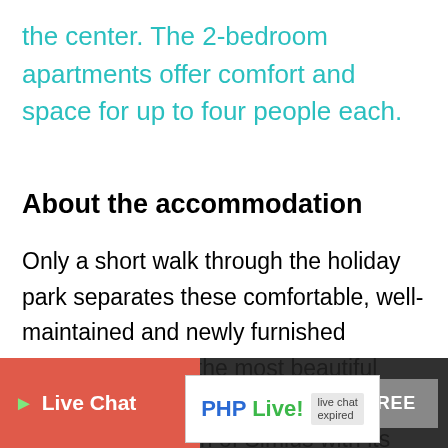the center. The 2-bedroom apartments offer comfort and space for up to four people each.
About the accommodation
Only a short walk through the holiday park separates these comfortable, well-maintained and newly furnished apartments from the most beautiful beach of Villasimius: the endlessly long white sandy beach of Simius with its crystal clear water. In your own apartment you can relax on the terrace and in addition both houses offer also a large and well-kept garden where the children can
cookies.
Live Chat
I AGREE
PHP Live! live chat expired